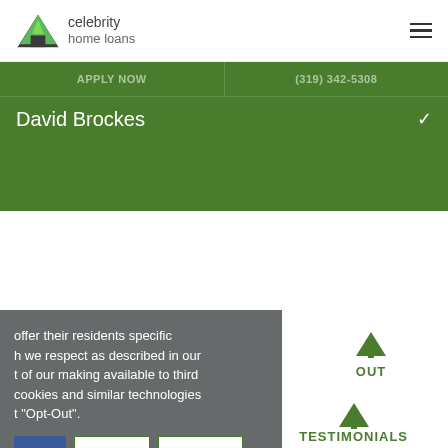[Figure (logo): Celebrity Home Loans logo with green mountain/house icon]
celebrity home loans
David Brockes
offer their residents specific h we respect as described in our t of our making available to third cookies and similar technologies t "Opt-Out".
Opt-Out
More Info
TESTIMONIALS